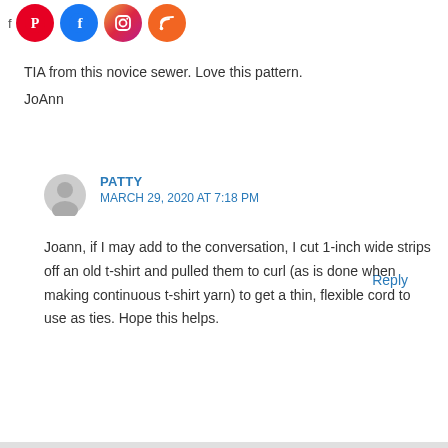[Figure (other): Social media icons row: Pinterest (red), Facebook (blue), Instagram (gradient), RSS (orange)]
TIA from this novice sewer. Love this pattern.
JoAnn
Reply
PATTY
MARCH 29, 2020 AT 7:18 PM
Joann, if I may add to the conversation, I cut 1-inch wide strips off an old t-shirt and pulled them to curl (as is done when making continuous t-shirt yarn) to get a thin, flexible cord to use as ties. Hope this helps.
Reply